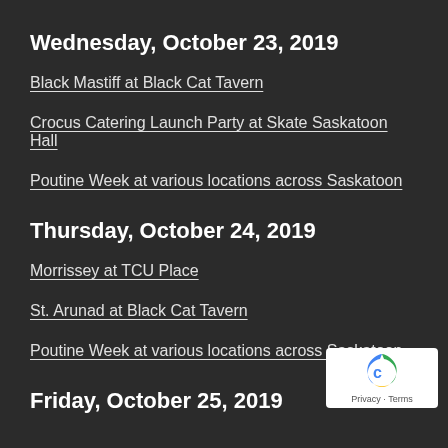Wednesday, October 23, 2019
Black Mastiff at Black Cat Tavern
Crocus Catering Launch Party at Skate Saskatoon Hall
Poutine Week at various locations across Saskatoon
Thursday, October 24, 2019
Morrissey at TCU Place
St. Arunad at Black Cat Tavern
Poutine Week at various locations across Saskatoon
Friday, October 25, 2019